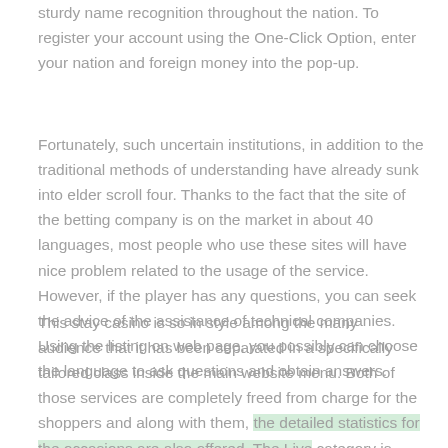sturdy name recognition throughout the nation. To register your account using the One-Click Option, enter your nation and foreign money into the pop-up.
Fortunately, such uncertain institutions, in addition to the traditional methods of understanding have already sunk into elder scroll four. Thanks to the fact that the site of the betting company is on the market in about 40 languages, most people who use these sites will have nice problem related to the usage of the service. However, if the player has any questions, you can seek the advice of the assistance of technical companies. Using the listing on web page, you possibly can choose the language to ask questions and obtain answers.
This stay casino is so in style among the many audience that it has been separated in a specifically tailored class inside the main website menu. Both of those services are completely freed from charge for the shoppers and along with them, the detailed statistics for the occasions are also offered. The Live category is organized in nearly the same means as the pre-match betting class is. The only difference is that in the best